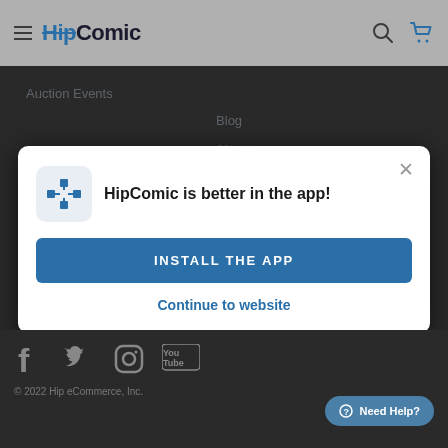HipComic
Auction Events
Blog
About
[Figure (screenshot): HipComic app install modal with icon, 'HipComic is better in the app!' heading, INSTALL THE APP button, and Continue to website link]
HipComic is better in the app!
INSTALL THE APP
Continue to website
[Figure (other): Social media icons: Facebook, Twitter, Instagram, YouTube]
© 2022 Hip eCommerce, Inc.
Need Help?